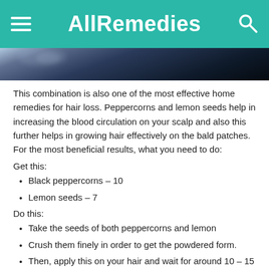AllRemedies
[Figure (photo): Partial photo of what appears to be a dark hair-related or water-related image, cropped at top]
This combination is also one of the most effective home remedies for hair loss. Peppercorns and lemon seeds help in increasing the blood circulation on your scalp and also this further helps in growing hair effectively on the bald patches. For the most beneficial results, what you need to do:
Get this:
Black peppercorns – 10
Lemon seeds – 7
Do this:
Take the seeds of both peppercorns and lemon
Crush them finely in order to get the powdered form.
Then, apply this on your hair and wait for around 10 – 15